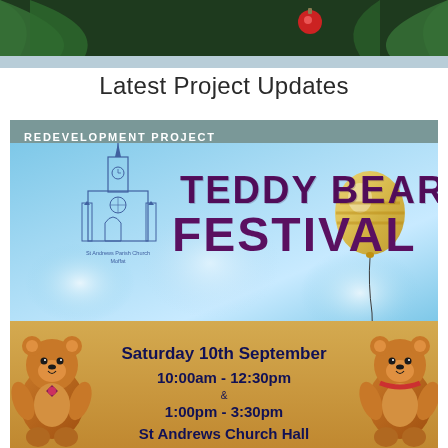[Figure (photo): Christmas tree branches with ornament and dark green background header photo]
Latest Project Updates
REDEVELOPMENT PROJECT
[Figure (illustration): Teddy Bear Festival event poster with church logo, balloon, teddy bears, sky blue background. Shows: Saturday 10th September, 10:00am - 12:30pm & 1:00pm - 3:30pm, St Andrews Church Hall]